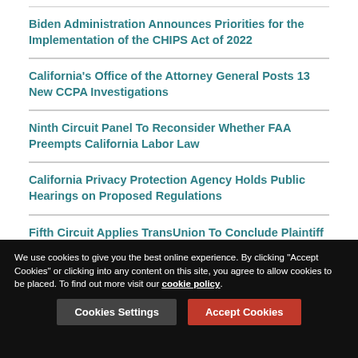Biden Administration Announces Priorities for the Implementation of the CHIPS Act of 2022
California's Office of the Attorney General Posts 13 New CCPA Investigations
Ninth Circuit Panel To Reconsider Whether FAA Preempts California Labor Law
California Privacy Protection Agency Holds Public Hearings on Proposed Regulations
Fifth Circuit Applies TransUnion To Conclude Plaintiff Lacked Standing To Assert FDCPA Claims.
If you would like to learn how Lexology can drive your content marketing strategy forward, please email enquiries@lexology.com.
We use cookies to give you the best online experience. By clicking "Accept Cookies" or clicking into any content on this site, you agree to allow cookies to be placed. To find out more visit our cookie policy.